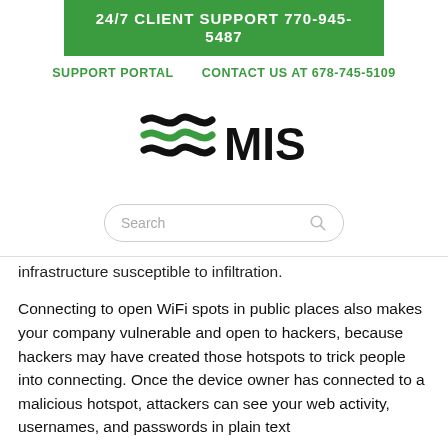24/7 CLIENT SUPPORT 770-945-5487
SUPPORT PORTAL   CONTACT US AT 678-745-5109
[Figure (logo): MIS logo with wave lines in black and green followed by text MIS in large bold letters]
Search
infrastructure susceptible to infiltration.
Connecting to open WiFi spots in public places also makes your company vulnerable and open to hackers, because hackers may have created those hotspots to trick people into connecting. Once the device owner has connected to a malicious hotspot, attackers can see your web activity, usernames, and passwords in plain text